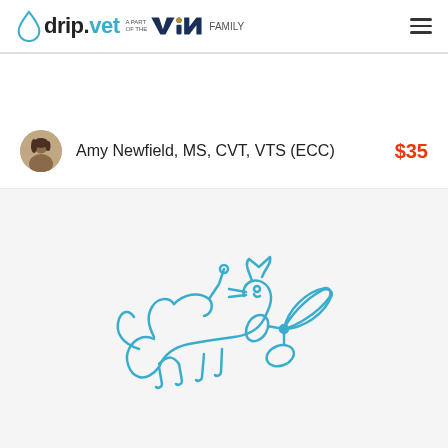drip.vet — A PART OF THE VIN FAMILY
Amy Newfield, MS, CVT, VTS (ECC)   $35
[Figure (illustration): Line drawing illustration of a cat walking with scissors and other veterinary instruments nearby, rendered in blue outline style]